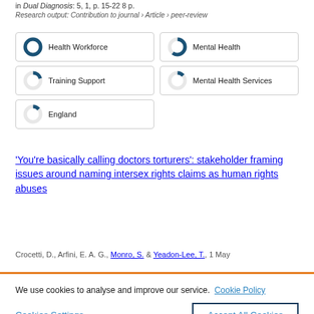in Dual Diagnosis: 5, 1, p. 15-22 8 p.
Research output: Contribution to journal › Article › peer-review
Health Workforce
Mental Health
Training Support
Mental Health Services
England
'You're basically calling doctors torturers': stakeholder framing issues around naming intersex rights claims as human rights abuses
Crocetti, D., Arfini, E. A. G., Monro, S. & Yeadon-Lee, T., 1 May
We use cookies to analyse and improve our service. Cookie Policy
Cookies Settings
Accept All Cookies